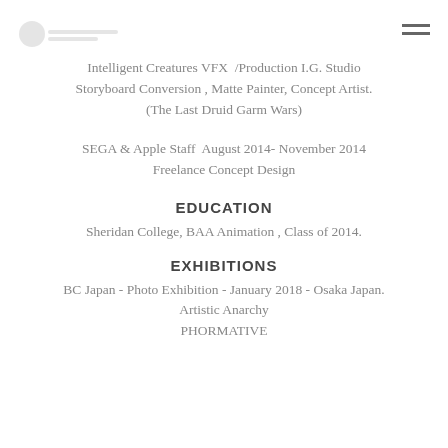[logo] [hamburger menu]
Intelligent Creatures VFX  /Production I.G. Studio Storyboard Conversion , Matte Painter, Concept Artist. (The Last Druid Garm Wars)
SEGA & Apple Staff  August 2014- November 2014 Freelance Concept Design
EDUCATION
Sheridan College, BAA Animation , Class of 2014.
EXHIBITIONS
BC Japan - Photo Exhibition - January 2018 - Osaka Japan. Artistic Anarchy PHORMATIVE